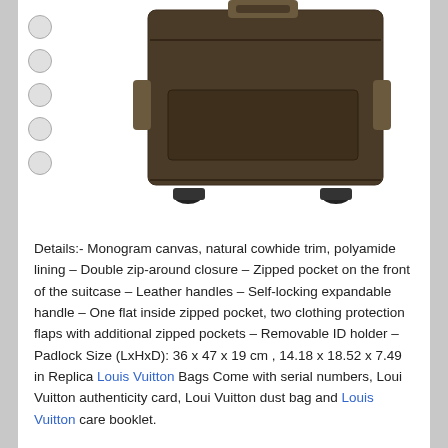[Figure (photo): Brown Louis Vuitton Monogram Canvas Pegase 45 suitcase/luggage with small product thumbnails on the left side]
Details:- Monogram canvas, natural cowhide trim, polyamide lining – Double zip-around closure – Zipped pocket on the front of the suitcase – Leather handles – Self-locking expandable handle – One flat inside zipped pocket, two clothing protection flaps with additional zipped pockets – Removable ID holder – Padlock Size (LxHxD): 36 x 47 x 19 cm , 14.18 x 18.52 x 7.49 in Replica Louis Vuitton Bags Come with serial numbers, Loui Vuitton authenticity card, Loui Vuitton dust bag and Louis Vuitton care booklet.
Order New Offering Louis Vuitton Monogram Canvas Pegase 45 M23293, Louis Vuitton Handbags Store For Cyber Monday, Thanksgiving Day, Black Friday, Christmas At Ojasayushveda.com, Shop today. Order